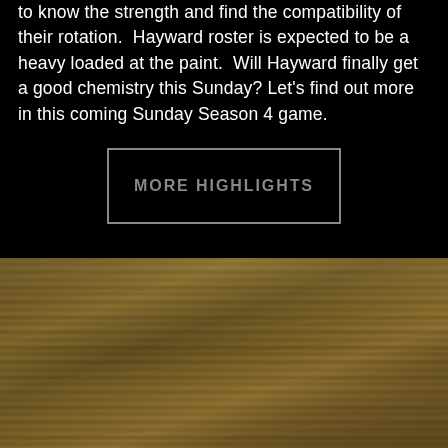to know the strength and find the compatibility of their rotation. Hayward roster is expected to be a heavy loaded at the paint. Will Hayward finally get a good chemistry this Sunday? Let's find out more in this coming Sunday Season 4 game.
MORE HIGHLIGHTS
[Figure (photo): Blurred photograph of a basketball court wooden floor with golden-brown tones, motion blur streaks visible horizontally across the surface.]